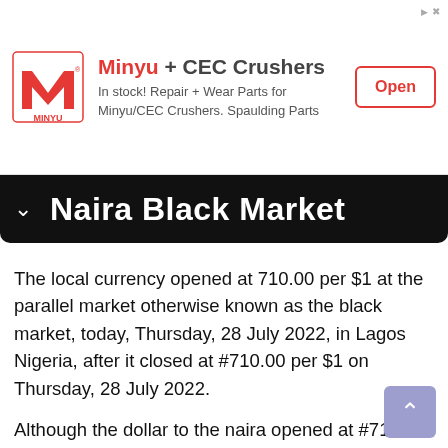[Figure (other): Advertisement banner for Minyu + CEC Crushers with logo, text 'In stock! Repair + Wear Parts for Minyu/CEC Crushers. Spaulding Parts', and an Open button]
Naira Black Market
The local currency opened at 710.00 per $1 at the parallel market otherwise known as the black market, today, Thursday, 28 July 2022, in Lagos Nigeria, after it closed at #710.00 per $1 on Thursday, 28 July 2022.
Although the dollar to the naira opened at #710.00 to $1 today on the parallel market, Kindly note that the Central Bank of Nigeria (CBN) does not recognize the parallel market, also known as the black market. Because of this, Central Bank of Nigeria has